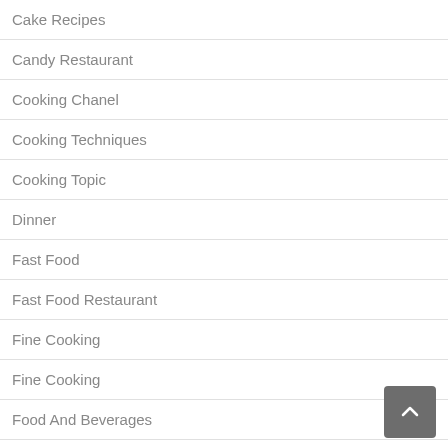Cake Recipes
Candy Restaurant
Cooking Chanel
Cooking Techniques
Cooking Topic
Dinner
Fast Food
Fast Food Restaurant
Fine Cooking
Fine Cooking
Food And Beverages
Food Order And Delivery
Healthy Food
Healthy Food Menu